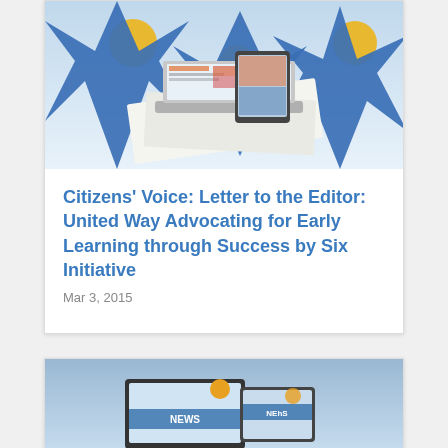[Figure (illustration): Illustration of laptop, tablet, and smartphone surrounded by newspaper pages, with three blue stars and gold circles on a light blue background]
Citizens' Voice: Letter to the Editor: United Way Advocating for Early Learning through Success by Six Initiative
Mar 3, 2015
[Figure (illustration): Partial illustration of desktop monitor and tablet showing NEWS headlines on a blue gradient background]